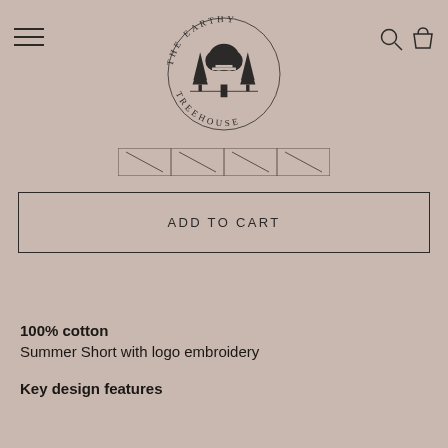[Figure (logo): The Earthy Treehouse circular logo with treehouse and pine trees illustration, text reading THE EARTHY TREEHOUSE arranged in a circle]
[Figure (other): Size selector row with four size options shown as checkmark/slash boxes]
ADD TO CART
100% cotton
Summer Short with logo embroidery
Key design features